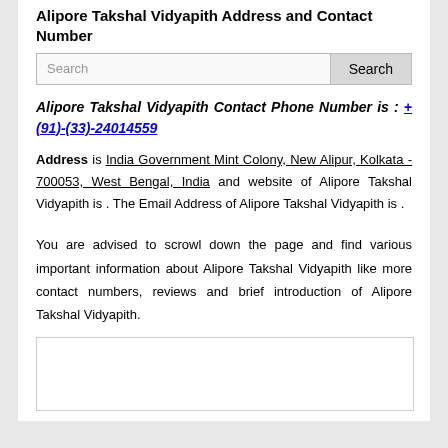Alipore Takshal Vidyapith Address and Contact Number
Alipore Takshal Vidyapith Contact Phone Number is : +(91)-(33)-24014559
Address is India Government Mint Colony, New Alipur, Kolkata - 700053, West Bengal, India and website of Alipore Takshal Vidyapith is . The Email Address of Alipore Takshal Vidyapith is .
You are advised to scrowl down the page and find various important information about Alipore Takshal Vidyapith like more contact numbers, reviews and brief introduction of Alipore Takshal Vidyapith.
[Figure (other): Empty white box placeholder at the bottom of the page]